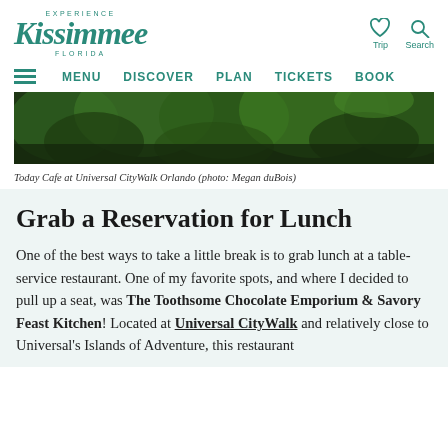Experience Kissimmee Florida | Trip | Search | MENU DISCOVER PLAN TICKETS BOOK
[Figure (photo): Outdoor image of dense green foliage/trees, serving as a hero banner for Today Cafe at Universal CityWalk Orlando]
Today Cafe at Universal CityWalk Orlando (photo: Megan duBois)
Grab a Reservation for Lunch
One of the best ways to take a little break is to grab lunch at a table-service restaurant. One of my favorite spots, and where I decided to pull up a seat, was The Toothsome Chocolate Emporium & Savory Feast Kitchen! Located at Universal CityWalk and relatively close to Universal's Islands of Adventure, this restaurant